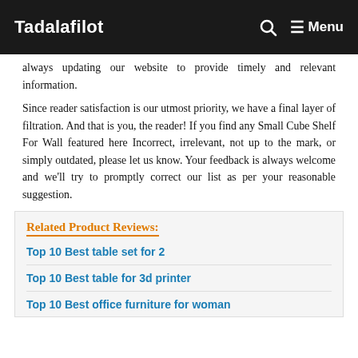Tadalafilot | Menu
always updating our website to provide timely and relevant information.
Since reader satisfaction is our utmost priority, we have a final layer of filtration. And that is you, the reader! If you find any Small Cube Shelf For Wall featured here Incorrect, irrelevant, not up to the mark, or simply outdated, please let us know. Your feedback is always welcome and we'll try to promptly correct our list as per your reasonable suggestion.
Related Product Reviews:
Top 10 Best table set for 2
Top 10 Best table for 3d printer
Top 10 Best office furniture for woman